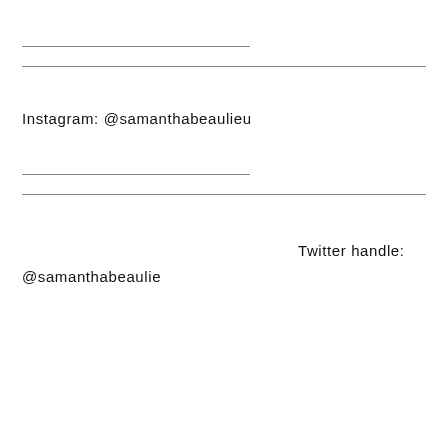Instagram: @samanthabeaulieu
Twitter handle: @samanthabeaulie